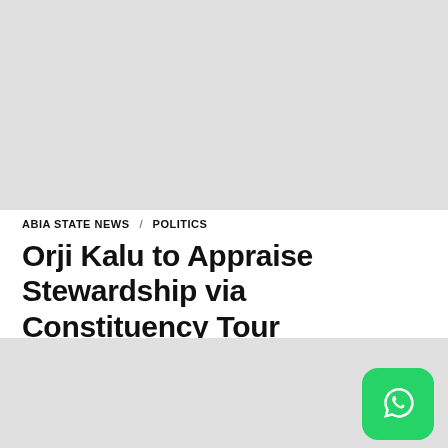[Figure (photo): Top placeholder image area, light grey rectangle]
ABIA STATE NEWS / POLITICS
Orji Kalu to Appraise Stewardship via Constituency Tour
[Figure (photo): Bottom placeholder image area, light grey rectangle, with WhatsApp icon button in bottom-right corner]